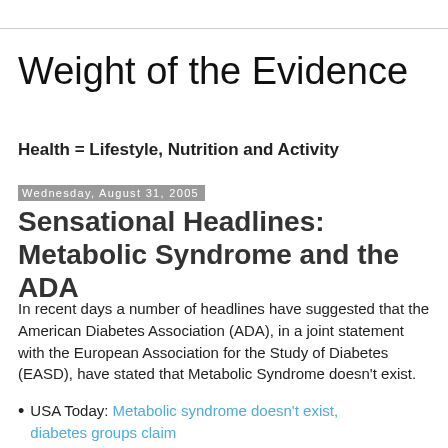Weight of the Evidence
Health = Lifestyle, Nutrition and Activity
Wednesday, August 31, 2005
Sensational Headlines: Metabolic Syndrome and the ADA
In recent days a number of headlines have suggested that the American Diabetes Association (ADA), in a joint statement with the European Association for the Study of Diabetes (EASD), have stated that Metabolic Syndrome doesn't exist.
USA Today: Metabolic syndrome doesn't exist, diabetes groups claim